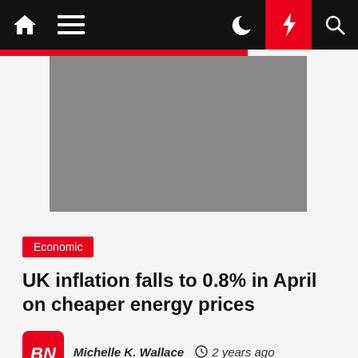Navigation bar with home, menu, dark mode, lightning/breaking news, and search icons
[Figure (photo): Gray placeholder hero image for news article]
Economic
UK inflation falls to 0.8% in April on cheaper energy prices
Michelle K. Wallace   2 years ago